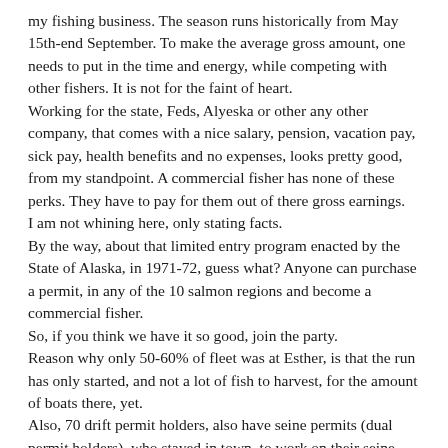my fishing business. The season runs historically from May 15th-end September. To make the average gross amount, one needs to put in the time and energy, while competing with other fishers. It is not for the faint of heart. Working for the state, Feds, Alyeska or other any other company, that comes with a nice salary, pension, vacation pay, sick pay, health benefits and no expenses, looks pretty good, from my standpoint. A commercial fisher has none of these perks. They have to pay for them out of there gross earnings.
I am not whining here, only stating facts.
By the way, about that limited entry program enacted by the State of Alaska, in 1971-72, guess what? Anyone can purchase a permit, in any of the 10 salmon regions and become a commercial fisher.
So, if you think we have it so good, join the party.
Reason why only 50-60% of fleet was at Esther, is that the run has only started, and not a lot of fish to harvest, for the amount of boats there, yet.
Also, 70 drift permit holders, also have seine permits (dual permit holders), who stayed in town, to work on their seine boat and gear. The VEDA run is only 2 weeks off, and